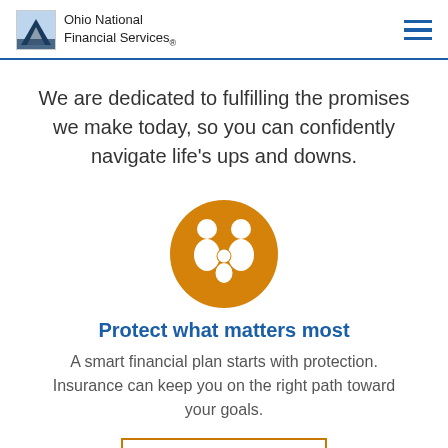Ohio National Financial Services
We are dedicated to fulfilling the promises we make today, so you can confidently navigate life's ups and downs.
[Figure (illustration): Orange circle icon with white silhouette of two adults and a child representing a family]
Protect what matters most
A smart financial plan starts with protection. Insurance can keep you on the right path toward your goals.
LEARN MORE